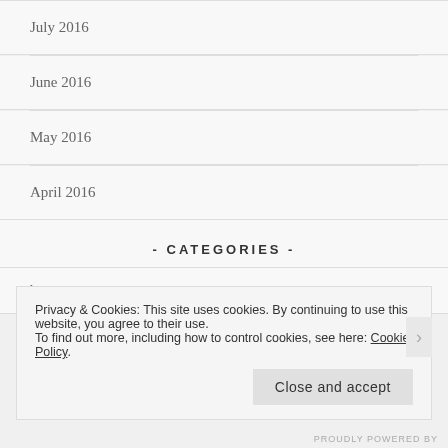July 2016
June 2016
May 2016
April 2016
- CATEGORIES -
beta
Privacy & Cookies: This site uses cookies. By continuing to use this website, you agree to their use.
To find out more, including how to control cookies, see here: Cookie Policy
[Close and accept]
PROUDLY POWERED BY